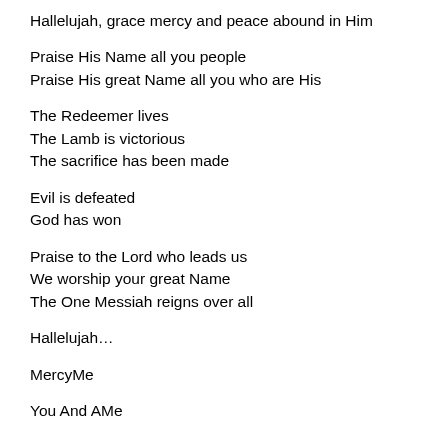Hallelujah, grace mercy and peace abound in Him
Praise His Name all you people
Praise His great Name all you who are His
The Redeemer lives
The Lamb is victorious
The sacrifice has been made
Evil is defeated
God has won
Praise to the Lord who leads us
We worship your great Name
The One Messiah reigns over all
Hallelujah…
MercyMe
You And AMe